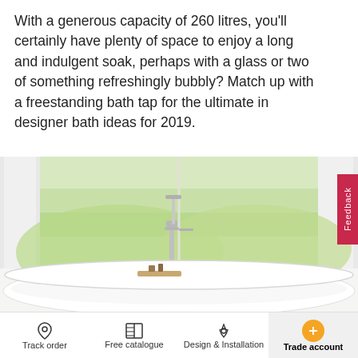With a generous capacity of 260 litres, you'll certainly have plenty of space to enjoy a long and indulgent soak, perhaps with a glass or two of something refreshingly bubbly? Match up with a freestanding bath tap for the ultimate in designer bath ideas for 2019.
[Figure (photo): A white freestanding bathtub with a chrome freestanding bath tap, set against large windows overlooking a green landscape with curtains. A small wooden tray with items rests on the bath rim.]
Track order | Free catalogue | Design & Installation | Trade account